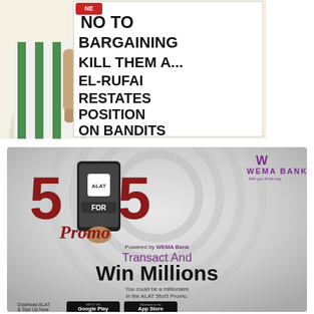[Figure (illustration): Cartoon illustration of a person in a green striped shirt holding a white sign that reads 'NO TO BARGAINING KILL THEM ALL EL-RUFAI RESTATES POSITION ON BANDITS' with a red 'NEW' badge at the top of the sign.]
[Figure (infographic): Wema Bank ALAT 5for5 Promo advertisement. Shows large red '5 FOR 5' text with a smartphone graphic in the middle showing the ALAT app. Purple WEMA BANK logo top right. Text reads 'Promo', 'Powered by WEMA Bank', 'Transact And Win Millions', 'You could be a millionaire in the ALAT 5for5 Promo.', 'Download ALAT & Sign Up Now' with Google Play and App Store buttons.]